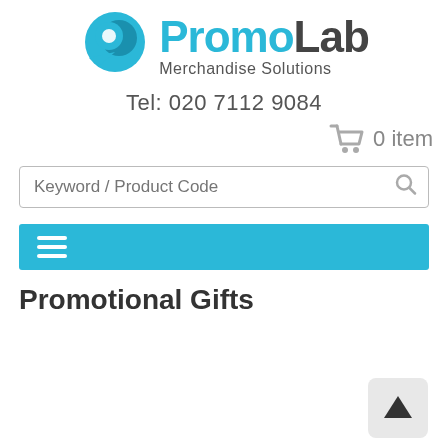[Figure (logo): PromoLab Merchandise Solutions logo with teal circular icon and bold text]
Tel: 020 7112 9084
0 item
Keyword / Product Code
Promotional Gifts
[Figure (other): Back to top arrow button in bottom right corner]